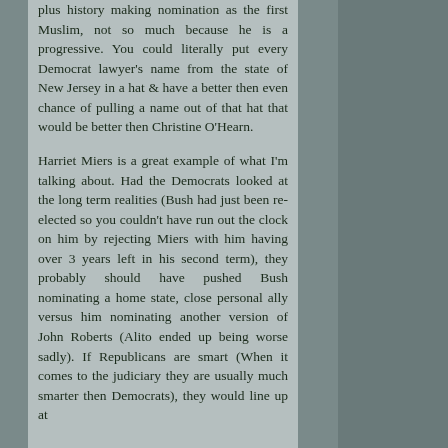plus history making nomination as the first Muslim, not so much because he is a progressive. You could literally put every Democrat lawyer's name from the state of New Jersey in a hat & have a better then even chance of pulling a name out of that hat that would be better then Christine O'Hearn.

Harriet Miers is a great example of what I'm talking about. Had the Democrats looked at the long term realities (Bush had just been re-elected so you couldn't have run out the clock on him by rejecting Miers with him having over 3 years left in his second term), they probably should have pushed Bush nominating a home state, close personal ally versus him nominating another version of John Roberts (Alito ended up being worse sadly). If Republicans are smart (When it comes to the judiciary they are usually much smarter then Democrats), they would line up at